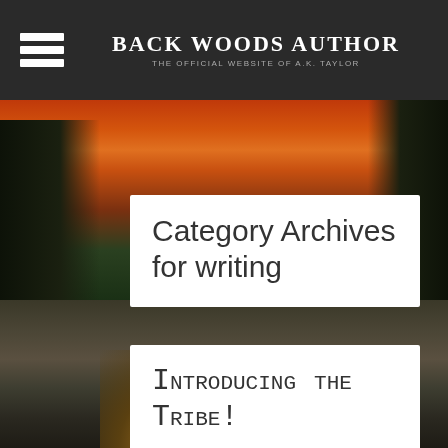BACK WOODS AUTHOR
THE OFFICIAL WEBSITE OF A.K. TAYLOR
[Figure (illustration): Fantasy landscape background with fiery orange-red sky, dark tree silhouettes on left and right, rocky terrain in middle, and a glowing golden fantasy scene at the bottom]
Category Archives for writing
Introducing the Tribe!